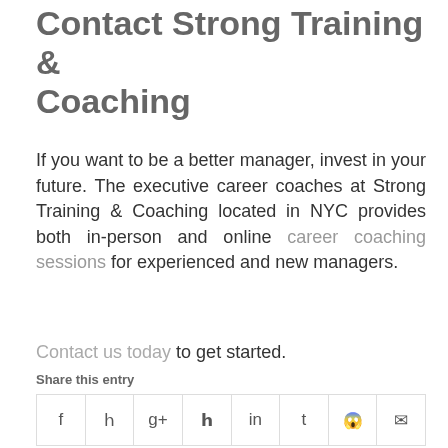Contact Strong Training & Coaching
If you want to be a better manager, invest in your future. The executive career coaches at Strong Training & Coaching located in NYC provides both in-person and online career coaching sessions for experienced and new managers.
Contact us today to get started.
Share this entry
[Figure (other): Social sharing bar with icons for Facebook, Twitter, Google+, Pinterest, LinkedIn, Tumblr, Reddit, and Email]